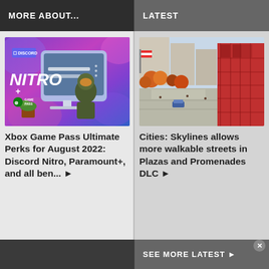MORE ABOUT...
LATEST
[Figure (illustration): Discord Nitro + Xbox Game Pass Ultimate promotional banner with purple/pink gradient background and Halo Master Chief character]
Xbox Game Pass Ultimate Perks for August 2022: Discord Nitro, Paramount+, and all ben... ▶
[Figure (photo): Aerial view of Cities: Skylines city with walkable plazas, red buildings, and streets]
Cities: Skylines allows more walkable streets in Plazas and Promenades DLC ▶
SEE MORE LATEST ▶